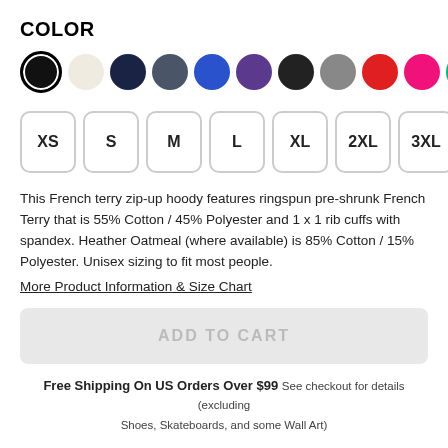COLOR
[Figure (infographic): Color swatches row: black (selected with ring), cream/oatmeal, navy, dark gray, royal blue, purple, black, gray, red, hot pink, green]
[Figure (infographic): Size selector buttons: XS, S, M, L, XL, 2XL, 3XL in rounded rectangle buttons]
This French terry zip-up hoody features ringspun pre-shrunk French Terry that is 55% Cotton / 45% Polyester and 1 x 1 rib cuffs with spandex. Heather Oatmeal (where available) is 85% Cotton / 15% Polyester. Unisex sizing to fit most people.
More Product Information & Size Chart
[Figure (infographic): Gray ADD TO CART button (disabled state)]
Free Shipping On US Orders Over $99 See checkout for details (excluding Shoes, Skateboards, and some Wall Art)
About the Design
Based on album art of Stellar West's MORTAL WOMBAT album